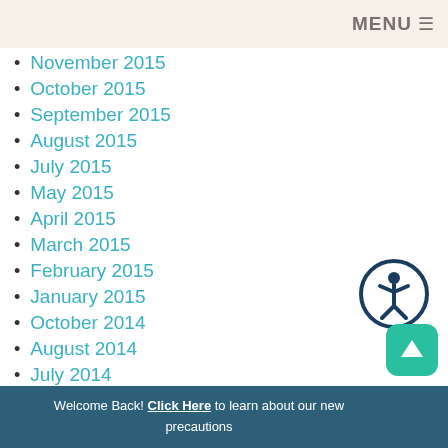MENU
November 2015
October 2015
September 2015
August 2015
July 2015
May 2015
April 2015
March 2015
February 2015
January 2015
October 2014
August 2014
July 2014
June 2014
[Figure (illustration): Accessibility icon: person inside a circle with dark navy border]
Welcome Back! Click Here to learn about our new precautions